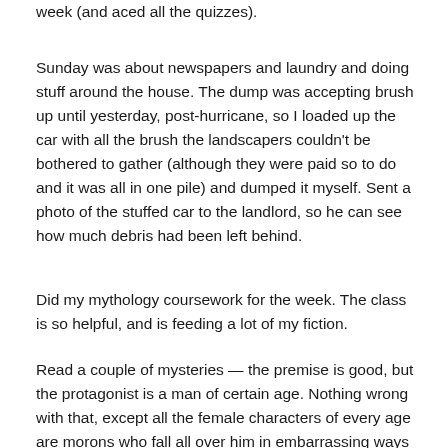week (and aced all the quizzes).
Sunday was about newspapers and laundry and doing stuff around the house. The dump was accepting brush up until yesterday, post-hurricane, so I loaded up the car with all the brush the landscapers couldn't be bothered to gather (although they were paid so to do and it was all in one pile) and dumped it myself. Sent a photo of the stuffed car to the landlord, so he can see how much debris had been left behind.
Did my mythology coursework for the week. The class is so helpful, and is feeding a lot of my fiction.
Read a couple of mysteries — the premise is good, but the protagonist is a man of certain age. Nothing wrong with that, except all the female characters of every age are morons who fall all over him in embarrassing ways and